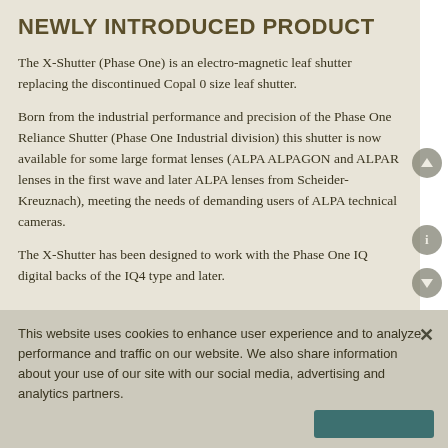NEWLY INTRODUCED PRODUCT
The X-Shutter (Phase One) is an electro-magnetic leaf shutter replacing the discontinued Copal 0 size leaf shutter.
Born from the industrial performance and precision of the Phase One Reliance Shutter (Phase One Industrial division) this shutter is now available for some large format lenses (ALPA ALPAGON and ALPAR lenses in the first wave and later ALPA lenses from Scheider-Kreuznach), meeting the needs of demanding users of ALPA technical cameras.
The X-Shutter has been designed to work with the Phase One IQ digital backs of the IQ4 type and later.
This website uses cookies to enhance user experience and to analyze performance and traffic on our website. We also share information about your use of our site with our social media, advertising and analytics partners.